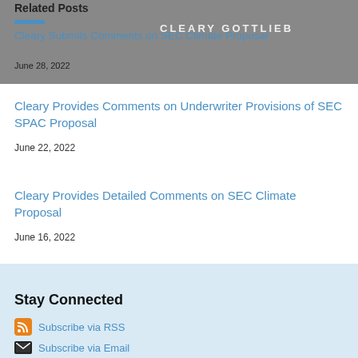Related Posts
Cleary Submits Comments on SEC Climate Proposal
June 28, 2022
Cleary Provides Comments on Underwriter Provisions of SEC SPAC Proposal
June 22, 2022
Cleary Provides Detailed Comments on SEC Climate Proposal
June 16, 2022
Stay Connected
Subscribe via RSS
Subscribe via Email